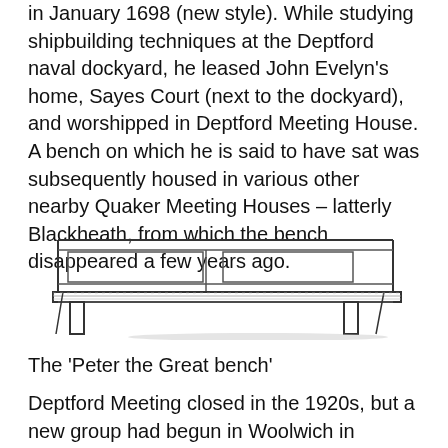in January 1698 (new style). While studying shipbuilding techniques at the Deptford naval dockyard, he leased John Evelyn's home, Sayes Court (next to the dockyard), and worshipped in Deptford Meeting House. A bench on which he is said to have sat was subsequently housed in various other nearby Quaker Meeting Houses – latterly Blackheath, from which the bench disappeared a few years ago.
[Figure (illustration): Line drawing illustration of a wooden bench (the 'Peter the Great bench'), shown in a three-quarter perspective view with a high back and simple wooden legs.]
The 'Peter the Great bench'
Deptford Meeting closed in the 1920s, but a new group had begun in Woolwich in February 1905 as a result of a public meeting. Woolwich Quakers moved to their own